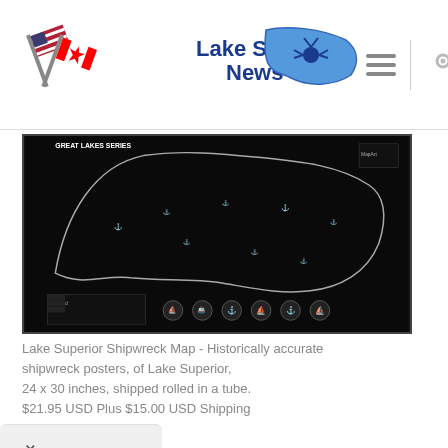Lake Superior News
[Figure (map): Lake Superior Shipwreck Map - dark background map showing shipwreck locations around Lake Superior with icons and legend]
Lake Superior Shipwreck Map - Historically accurate shipwreck posters, of Lake Superior, 24 x 30 inches, shipped rolled in a tube. $21.95 USD Plus $15.00 USD Shipping
Top Rated Sailing Charters SD
We offer a thrilling San Diego boat charter; public, private parties, & corporate events Stars & Stripes USA 11